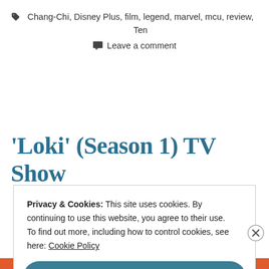Chang-Chi, Disney Plus, film, legend, marvel, mcu, review, Ten
Leave a comment
'Loki' (Season 1) TV Show
Privacy & Cookies: This site uses cookies. By continuing to use this website, you agree to their use. To find out more, including how to control cookies, see here: Cookie Policy
Close and accept